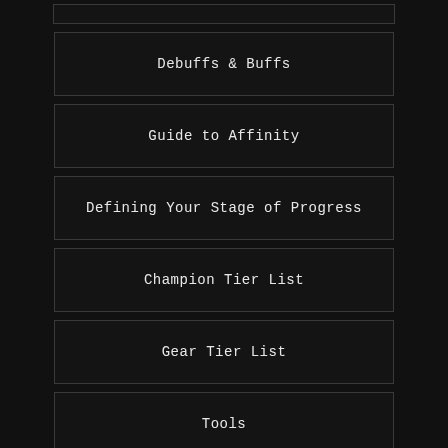Debuffs & Buffs
Guide to Affinity
Defining Your Stage of Progress
Champion Tier List
Gear Tier List
Tools
Raid: Shadow Legends – Champion Skills:
AURAS